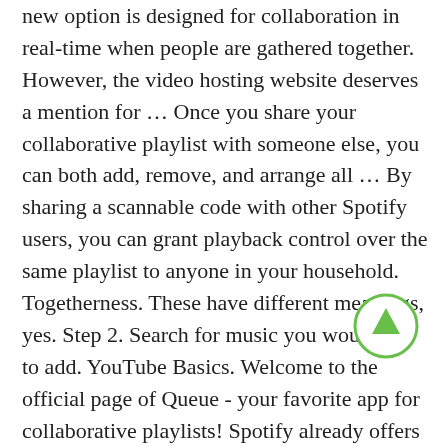new option is designed for collaboration in real-time when people are gathered together. However, the video hosting website deserves a mention for ... Once you share your collaborative playlist with someone else, you can both add, remove, and arrange all ... By sharing a scannable code with other Spotify users, you can grant playback control over the same playlist to anyone in your household. Togetherness. These have different meanings, yes. Step 2. Search for music you would like to add. YouTube Basics. Welcome to the official page of Queue - your favorite app for collaborative playlists! Spotify already offers a Collaborative Playlists feature, but that isn't real-time. IST